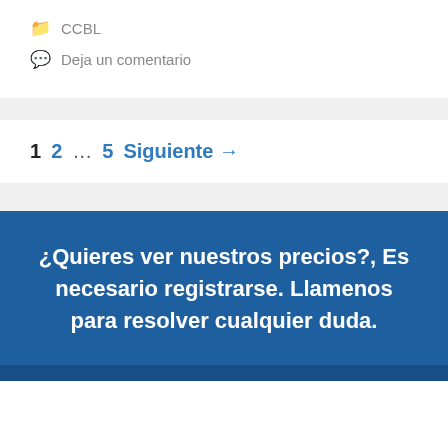CCBL
Deja un comentario
1  2  …  5  Siguiente →
¿Quieres ver nuestros precios?, Es necesario registrarse. Llamenos para resolver cualquier duda.